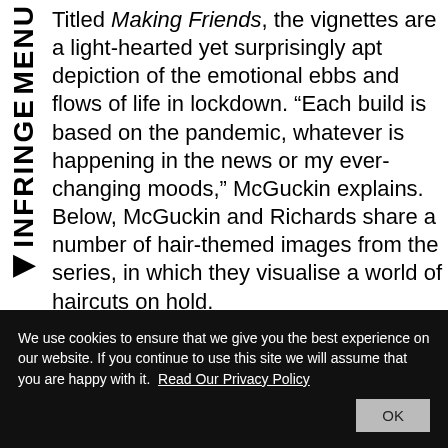INFRINGE MENU
Titled Making Friends, the vignettes are a light-hearted yet surprisingly apt depiction of the emotional ebbs and flows of life in lockdown. “Each build is based on the pandemic, whatever is happening in the news or my ever-changing moods,” McGuckin explains. Below, McGuckin and Richards share a number of hair-themed images from the series, in which they visualise a world of haircuts on hold.
[Figure (photo): Partial sepia-toned photograph showing a hand against a textured wall, part of the Making Friends series about haircuts on hold]
We use cookies to ensure that we give you the best experience on our website. If you continue to use this site we will assume that you are happy with it. Read Our Privacy Policy OK